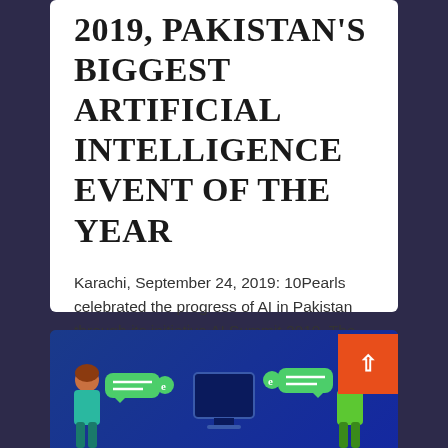2019, PAKISTAN'S BIGGEST ARTIFICIAL INTELLIGENCE EVENT OF THE YEAR
Karachi, September 24, 2019: 10Pearls celebrated the progress of AI in Pakistan through its initiative AI Summit 2019. The summit...
READ MORE
[Figure (illustration): Illustration showing people with chat/message bubbles on a dark blue background, partial view of the bottom card]